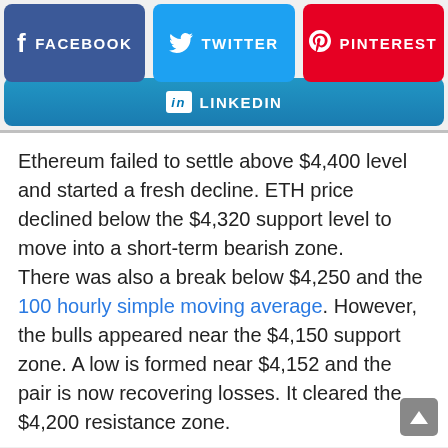[Figure (infographic): Social media share buttons: Facebook (blue), Twitter (light blue), Pinterest (red), LinkedIn (blue gradient)]
Ethereum failed to settle above $4,400 level and started a fresh decline. ETH price declined below the $4,320 support level to move into a short-term bearish zone.
There was also a break below $4,250 and the 100 hourly simple moving average. However, the bulls appeared near the $4,150 support zone. A low is formed near $4,152 and the pair is now recovering losses. It cleared the $4,200 resistance zone.